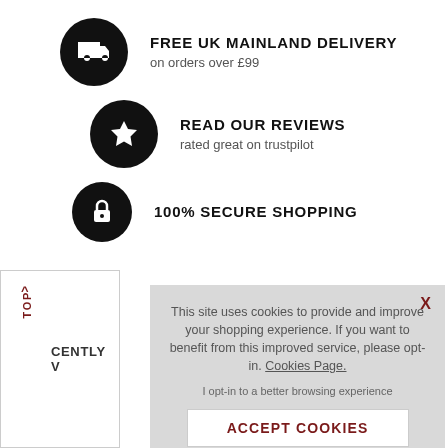FREE UK MAINLAND DELIVERY
on orders over £99
READ OUR REVIEWS
rated great on trustpilot
100% SECURE SHOPPING
∧ TOP
CENTLY V
This site uses cookies to provide and improve your shopping experience. If you want to benefit from this improved service, please opt-in. Cookies Page.

I opt-in to a better browsing experience
ACCEPT COOKIES